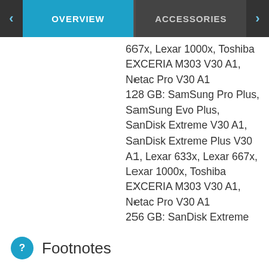OVERVIEW | ACCESSORIES
667x, Lexar 1000x, Toshiba EXCERIA M303 V30 A1, Netac Pro V30 A1
128 GB: SamSung Pro Plus, SamSung Evo Plus, SanDisk Extreme V30 A1, SanDisk Extreme Plus V30 A1, Lexar 633x, Lexar 667x, Lexar 1000x, Toshiba EXCERIA M303 V30 A1, Netac Pro V30 A1
256 GB: SanDisk Extreme V30 A1
Footnotes